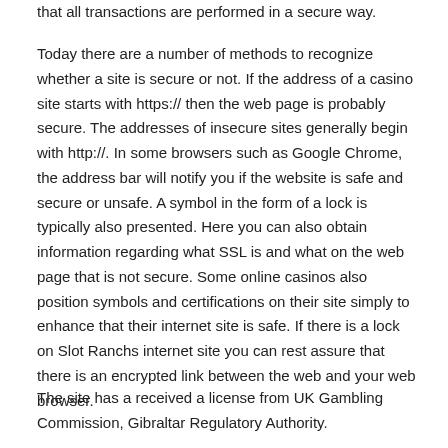that all transactions are performed in a secure way.
Today there are a number of methods to recognize whether a site is secure or not. If the address of a casino site starts with https:// then the web page is probably secure. The addresses of insecure sites generally begin with http://. In some browsers such as Google Chrome, the address bar will notify you if the website is safe and secure or unsafe. A symbol in the form of a lock is typically also presented. Here you can also obtain information regarding what SSL is and what on the web page that is not secure. Some online casinos also position symbols and certifications on their site simply to enhance that their internet site is safe. If there is a lock on Slot Ranchs internet site you can rest assure that there is an encrypted link between the web and your web browser.
The site has a received a license from UK Gambling Commission, Gibraltar Regulatory Authority.